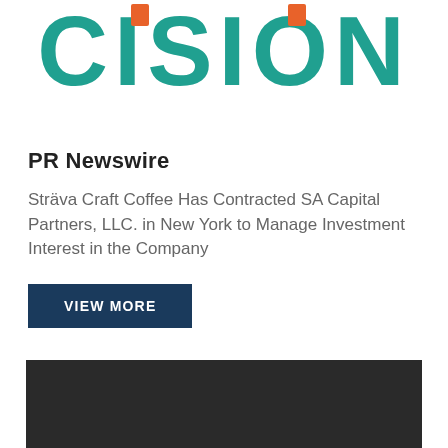[Figure (logo): Cision logo — large teal and orange stylized letters 'CISION' partially visible at top of page]
PR Newswire
Sträva Craft Coffee Has Contracted SA Capital Partners, LLC. in New York to Manage Investment Interest in the Company
VIEW MORE
[Figure (photo): Dark/black image block at bottom of page]